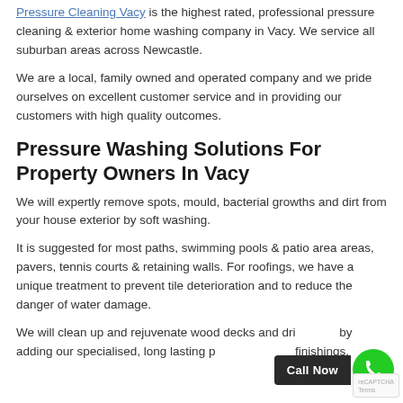Pressure Cleaning Vacy is the highest rated, professional pressure cleaning & exterior home washing company in Vacy. We service all suburban areas across Newcastle.
We are a local, family owned and operated company and we pride ourselves on excellent customer service and in providing our customers with high quality outcomes.
Pressure Washing Solutions For Property Owners In Vacy
We will expertly remove spots, mould, bacterial growths and dirt from your house exterior by soft washing.
It is suggested for most paths, swimming pools & patio area areas, pavers, tennis courts & retaining walls. For roofings, we have a unique treatment to prevent tile deterioration and to reduce the danger of water damage.
We will clean up and rejuvenate wood decks and driveways by adding our specialised, long lasting paint and stone finishings.